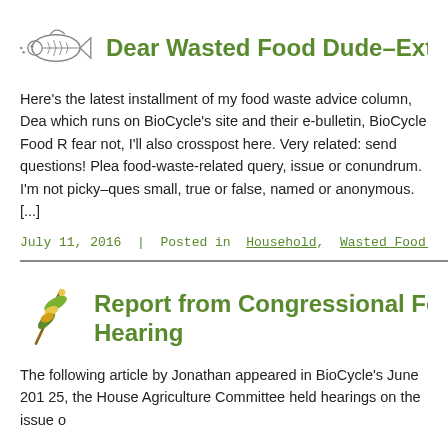Dear Wasted Food Dude–Extreme
Here's the latest installment of my food waste advice column, Dear Wasted Food Dude, which runs on BioCycle's site and their e-bulletin, BioCycle Food R fear not, I'll also crosspost here. Very related: send questions! Please send food-waste-related query, issue or conundrum. I'm not picky–ques small, true or false, named or anonymous. [...]
July 11, 2016 | Posted in Household, Wasted Food Dude |
Report from Congressional Food Hearing
The following article by Jonathan appeared in BioCycle's June 201 25, the House Agriculture Committee held hearings on the issue o